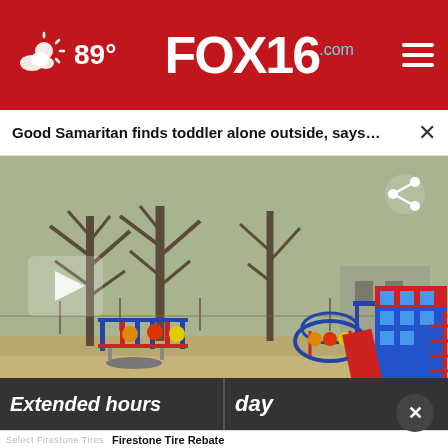FOX16.com — 89° weather — navigation header
Good Samaritan finds toddler alone outside, says…
[Figure (screenshot): Video thumbnail showing a playground with colorful play structures, bare trees, and dry grass. A semi-transparent play button is overlaid on the left. A share icon appears in the upper right. Partially visible ad banners at the bottom show 'Extended hours' and 'day' text in white on dark background.]
[Figure (screenshot): Firestone Tire Rebate advertisement overlay at the bottom of the screen showing Firestone Auto logo, play button, and navigation arrow icon. Text reads 'Select Firestone Tires' and 'Firestone Tire Rebate'.]